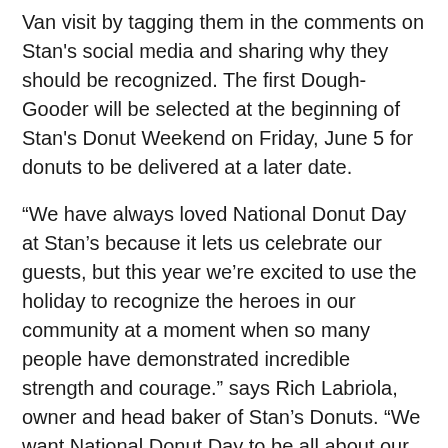Van visit by tagging them in the comments on Stan's social media and sharing why they should be recognized. The first Dough-Gooder will be selected at the beginning of Stan's Donut Weekend on Friday, June 5 for donuts to be delivered at a later date.
“We have always loved National Donut Day at Stan’s because it lets us celebrate our guests, but this year we’re excited to use the holiday to recognize the heroes in our community at a moment when so many people have demonstrated incredible strength and courage.” says Rich Labriola, owner and head baker of Stan’s Donuts. “We want National Donut Day to be all about our Stan’s Fans and our gratitude for their support, so from free donuts to the Dough-Gooders program, we’ve put together a celebration that lets us say ‘thank you’ for allowing us to continue doing what we love – making really great donuts!”